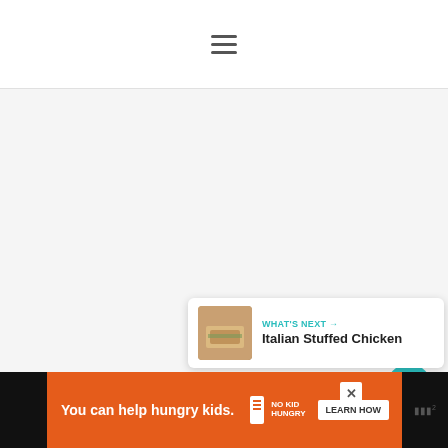☰ (hamburger menu icon)
[Figure (screenshot): Main content area with light gray background, showing a web page with floating UI controls: a teal heart/favorite button, a like count of 441, and a share button with circular white background. A 'What's Next' card appears in the bottom right with a thumbnail of Italian Stuffed Chicken.]
441
WHAT'S NEXT → Italian Stuffed Chicken
[Figure (photo): Thumbnail image of Italian Stuffed Chicken dish]
You can help hungry kids.
NO KID HUNGRY
LEARN HOW